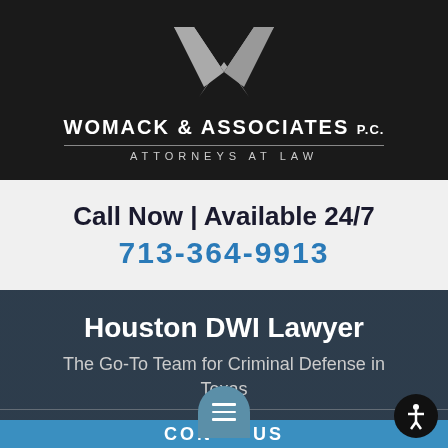[Figure (logo): Womack & Associates P.C. law firm logo: large silver W chevron mark above firm name on dark background]
Call Now | Available 24/7
713-364-9913
Houston DWI Lawyer
The Go-To Team for Criminal Defense in Texas